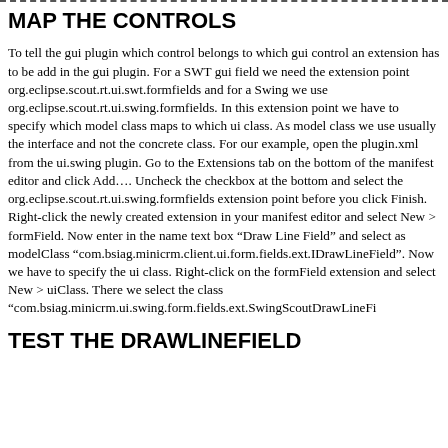- - - - - - - - - - - - - - - - - - - - - - - - - - - - - - - - - - - - - - - - - - - - - - - - - - - - - - - - - -
MAP THE CONTROLS
To tell the gui plugin which control belongs to which gui control an extension has to be add in the gui plugin. For a SWT gui field we need the extension point org.eclipse.scout.rt.ui.swt.formfields and for a Swing we use org.eclipse.scout.rt.ui.swing.formfields. In this extension point we have to specify which model class maps to which ui class. As model class we use usually the interface and not the concrete class. For our example, open the plugin.xml from the ui.swing plugin. Go to the Extensions tab on the bottom of the manifest editor and click Add…. Uncheck the checkbox at the bottom and select the org.eclipse.scout.rt.ui.swing.formfields extension point before you click Finish. Right-click the newly created extension in your manifest editor and select New > formField. Now enter in the name text box “Draw Line Field” and select as modelClass “com.bsiag.minicrm.client.ui.form.fields.ext.IDrawLineField”. Now we have to specify the ui class. Right-click on the formField extension and select New > uiClass. There we select the class “com.bsiag.minicrm.ui.swing.form.fields.ext.SwingScoutDrawLineFi
TEST THE DRAWLINEFIELD